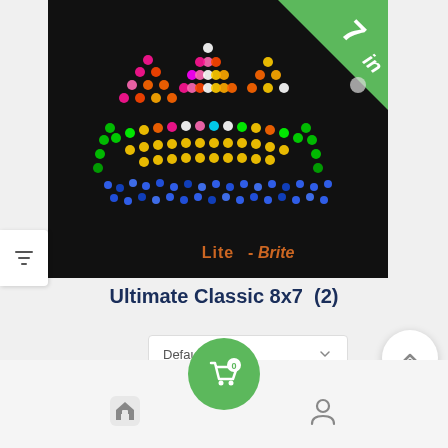[Figure (photo): Lite-Brite Ultimate Classic 8x7 product photo showing a colorful sailboat made of light pegs on a dark background, with a green '7 in 1' badge in the top-right corner]
Ultimate Classic 8x7 (2)
Default Sorting
[Figure (screenshot): Bottom navigation bar with home icon, shopping cart icon with badge showing 0, and account/person icon]